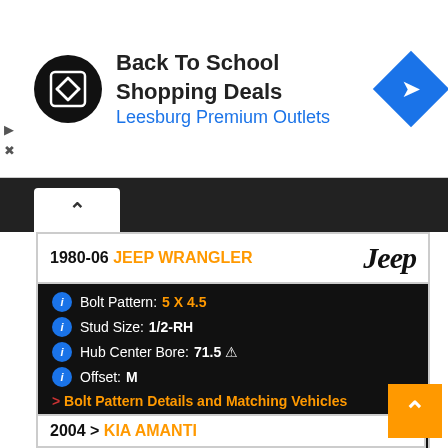[Figure (infographic): Ad banner: Back To School Shopping Deals at Leesburg Premium Outlets with a circular black logo and blue diamond arrow icon]
1980-06 JEEP WRANGLER
[Figure (logo): Jeep brand logo in italic black text]
Bolt Pattern: 5 X 4.5
Stud Size: 1/2-RH
Hub Center Bore: 71.5 ⚠
Offset: M
> Bolt Pattern Details and Matching Vehicles
OEM Wheel Size(s): 15 X 6
Look-up: Spacers ~ Adapters ~ Wheels/Tires
Torque Sequence: 1, 3, 5, 2, 4
75 to 85 lb-ft.
8 Turns Minimum
2004 > KIA AMANTI